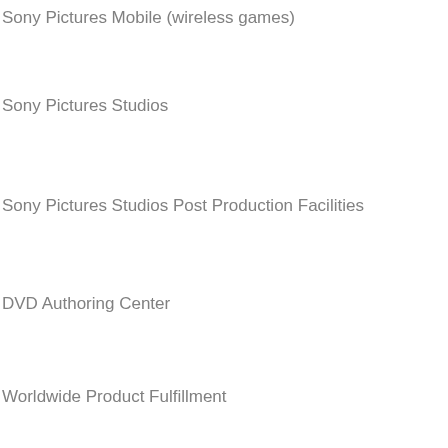Sony Pictures Mobile (wireless games)
Sony Pictures Studios
Sony Pictures Studios Post Production Facilities
DVD Authoring Center
Worldwide Product Fulfillment